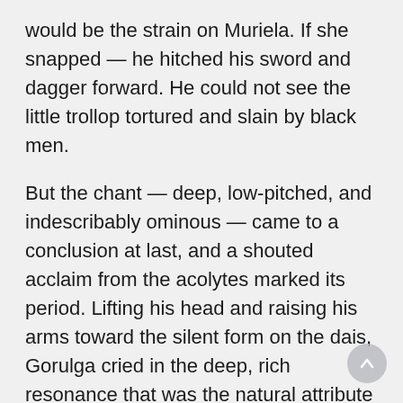would be the strain on Muriela. If she snapped — he hitched his sword and dagger forward. He could not see the little trollop tortured and slain by black men.
But the chant — deep, low-pitched, and indescribably ominous — came to a conclusion at last, and a shouted acclaim from the acolytes marked its period. Lifting his head and raising his arms toward the silent form on the dais, Gorulga cried in the deep, rich resonance that was the natural attribute of the Keshani priest: "O great goddess, dweller with the great one of darkness, let thy heart be melted, thy lips opened for the ears of thy slave whose head is in the dust beneath thy feet! Speak, great goddess of